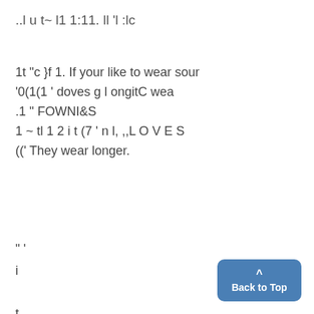..l u t~ l1 1:11. ll 'l :lc
1t "c }f 1. If your like to wear sour '0(1(1 ' doves g l ongitC wea .1 " FOWNI&S 1 ~ tl 1 2 i t (7 ' n l, ,,L O V E S ((' They wear longer.
" '
i
t
it
'
1
Back to Top